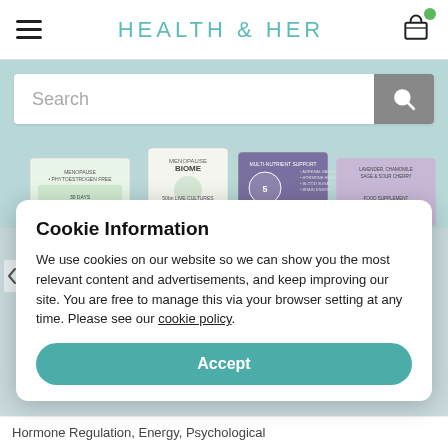HEALTH & HER
[Figure (screenshot): Search bar with teal/grey background and search icon button]
[Figure (photo): Product packaging strip showing menopause supplement products including Menopause Biome and Multi-Nutrient Support]
Cookie Information
We use cookies on our website so we can show you the most relevant content and advertisements, and keep improving our site. You are free to manage this via your browser setting at any time. Please see our cookie policy.
Accept
Hormone Regulation, Energy, Psychological...